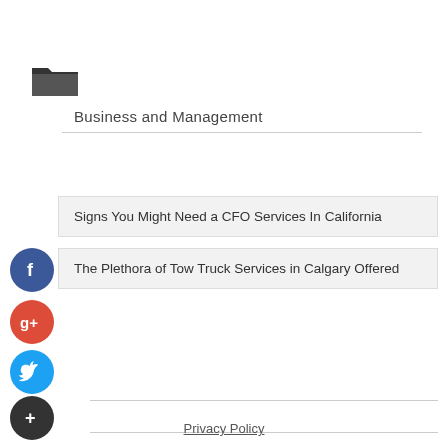[Figure (illustration): Dark folder icon (open folder)]
Business and Management
Signs You Might Need a CFO Services In California
The Plethora of Tow Truck Services in Calgary Offered
[Figure (illustration): Facebook social media button - blue circle with f]
[Figure (illustration): Google Plus social media button - red circle with g+]
[Figure (illustration): Twitter social media button - blue circle with bird]
[Figure (illustration): Plus/share button - dark circle with +]
Privacy Policy